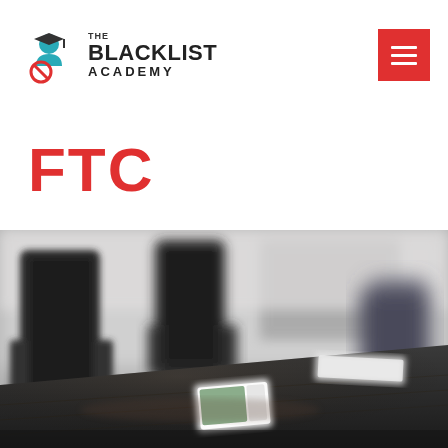The Blacklist Academy
FTC
[Figure (photo): A blurred conference room with black office chairs and a dark wooden table, with papers and notebooks on the surface. Background shows office equipment out of focus.]